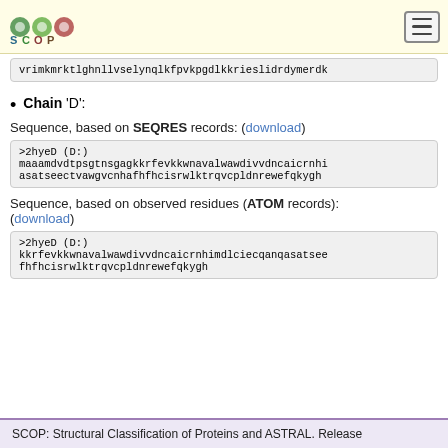SCOP logo and navigation menu
vrimkmrktlghnllvselynqlkfpvkpgdlkkrieslidrdymerdk
Chain 'D':
Sequence, based on SEQRES records: (download)
>2hyeD (D:)
maaamdvdtpsgtnsgagkkrfevkkwnavalwawdivvdncaicrnhi
asatseectvawgvcnhafhfhcisrwlktrqvcpldnrewefqkygh
Sequence, based on observed residues (ATOM records): (download)
>2hyeD (D:)
kkrfevkkwnavalwawdivvdncaicrnhimdlciecqanqasatsee
fhfhcisrwlktrqvcpldnrewefqkygh
SCOP: Structural Classification of Proteins and ASTRAL. Release